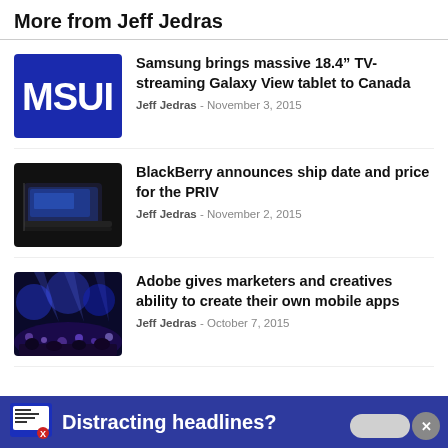More from Jeff Jedras
[Figure (logo): Samsung logo on blue background, partially cropped showing 'MSUI']
Samsung brings massive 18.4” TV-streaming Galaxy View tablet to Canada
Jeff Jedras - November 3, 2015
[Figure (photo): BlackBerry PRIV smartphone on dark background]
BlackBerry announces ship date and price for the PRIV
Jeff Jedras - November 2, 2015
[Figure (photo): Large conference hall with blue lighting and crowd]
Adobe gives marketers and creatives ability to create their own mobile apps
Jeff Jedras - October 7, 2015
Distracting headlines?